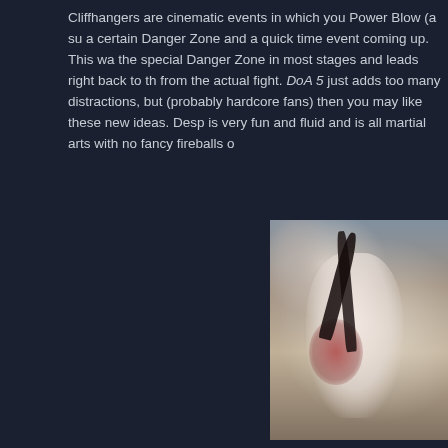Cliffhangers are cinematic events in which you Power Blow (a su a certain Danger Zone and a quick time event coming up. This wa the special Danger Zone in most stages and leads right back to th from the actual fight. DoA 5 just adds too many distractions, but (probably hardcore fans) then you may like these new ideas. Desp is very fun and fluid and is all martial arts with no fancy fireballs o
[Figure (screenshot): A screenshot from Dead or Alive 5 showing a female character in a white kimono with red floral pattern crouching in a fighting stance, with long black hair flowing, against a background of cherry blossom trees. Another character in white gi is partially visible on the right.]